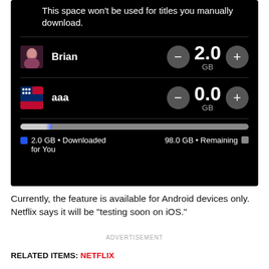[Figure (screenshot): Netflix app screenshot showing download storage settings. Two user profiles (Brian: 2.0 GB, aaa: 0.0 GB) with plus/minus controls. Progress bar showing 2.0 GB downloaded, 98.0 GB remaining.]
Currently, the feature is available for Android devices only. Netflix says it will be “testing soon on iOS.”
ADVERTISEMENT
RELATED ITEMS: NETFLIX